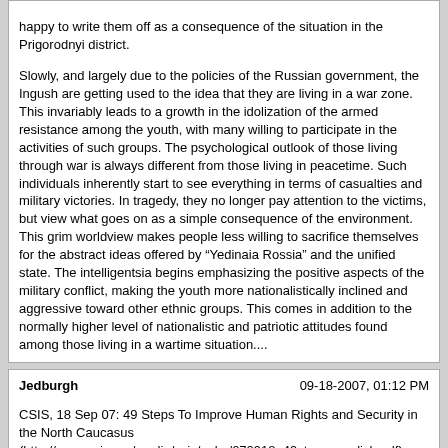happy to write them off as a consequence of the situation in the Prigorodnyi district.

Slowly, and largely due to the policies of the Russian government, the Ingush are getting used to the idea that they are living in a war zone. This invariably leads to a growth in the idolization of the armed resistance among the youth, with many willing to participate in the activities of such groups. The psychological outlook of those living through war is always different from those living in peacetime. Such individuals inherently start to see everything in terms of casualties and military victories. In tragedy, they no longer pay attention to the victims, but view what goes on as a simple consequence of the environment. This grim worldview makes people less willing to sacrifice themselves for the abstract ideas offered by "Yedinaia Rossia" and the unified state. The intelligentsia begins emphasizing the positive aspects of the military conflict, making the youth more nationalistically inclined and aggressive toward other ethnic groups. This comes in addition to the normally higher level of nationalistic and patriotic attitudes found among those living in a wartime situation....
Jedburgh | 09-18-2007, 01:12 PM
CSIS, 18 Sep 07: 49 Steps To Improve Human Rights and Security in the North Caucasus (http://www.csis.org/media/csis/pubs/070918_49steps_english.pdf)
For well over a decade, the North Caucasus has been the site and source of rising levels of violence, instability, and terrorism. After a cease-fire ended the first Chechen war in late 1996, terrorist bombings and incursions in Dagestan provoked the Russian government to send federal troops back into Chechnya in October 1999. The ensuing military conflict produced massive military and civilian casualties, streams of refugees, shocking brutality against civilians, and a surge in terrorist actions in the south and elsewhere in Russia. The most dramatic events included the seizure of a Moscow theater by terrorists in October 2002, the downing of two airplanes and a metro bombing in downtown Moscow in August 2004, the vicious raid on a school in Beslan (http://www.defac.ac.uk/colleges/csrc/document-listings/russian/04(28)-MAS.pdf), North Ossetia, in September 2004, and an October 2005 assault on police and security forces by local youths and terrorists in Nalchik.